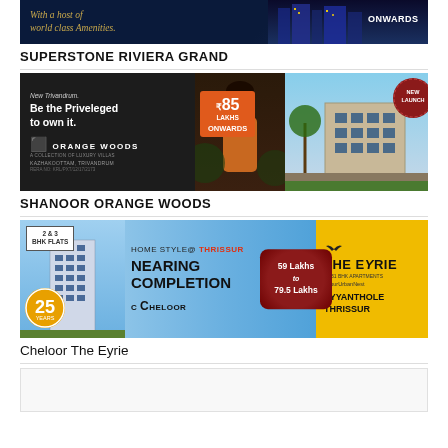[Figure (advertisement): Superstone Riviera Grand real estate ad banner - dark blue background with gold italic text 'With a host of world class Amenities.' and building imagery on right]
SUPERSTONE RIVIERA GRAND
[Figure (advertisement): Orange Woods real estate ad - dark background left side with text 'New Trivandrum. Be the Priveleged to own it.' and Orange Woods logo, KAZHAKOOTTAM TRIVANDRUM location, woman in center, price badge Rs 85 Lakhs Onwards in orange, building photo right, New Launch seal]
SHANOOR ORANGE WOODS
[Figure (advertisement): Cheloor The Eyrie apartment ad - blue background with building, 2&3 BHK Flats badge, 25 years badge, HOME STYLE @ THRISSUR, NEARING COMPLETION, 59 Lakhs to 79.5 Lakhs price, THE EYRIE logo in yellow, AYYANTHOLE THRISSUR]
Cheloor The Eyrie
[Figure (advertisement): Blank/partial advertisement area at bottom of page]